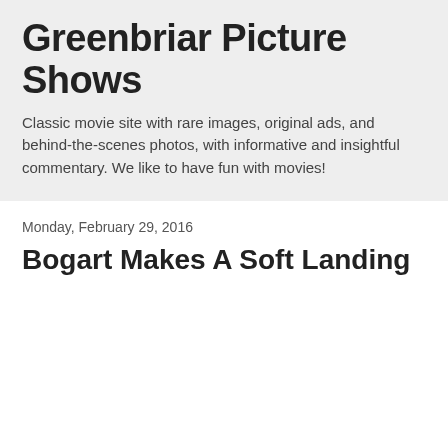Greenbriar Picture Shows
Classic movie site with rare images, original ads, and behind-the-scenes photos, with informative and insightful commentary. We like to have fun with movies!
Monday, February 29, 2016
Bogart Makes A Soft Landing